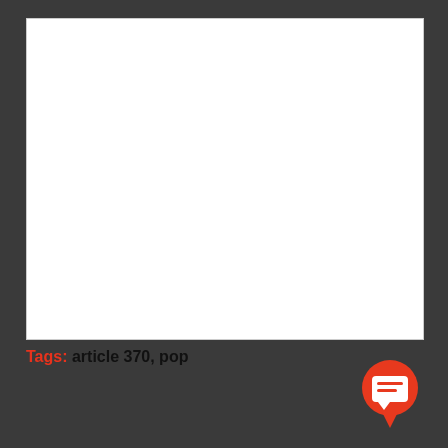[Figure (other): Large white blank rectangular area, possibly an image placeholder]
Tags: article 370, pop
[Figure (other): Red circular chat/comment button icon in bottom right corner]